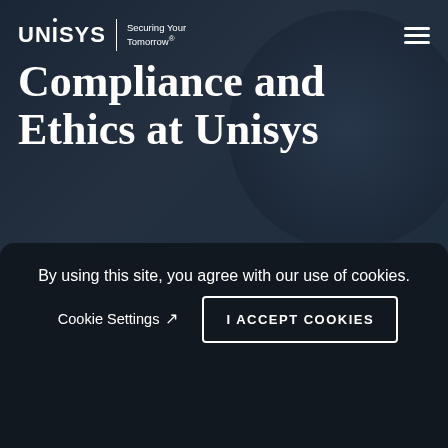UNISYS | Securing Your Tomorrow®
Compliance and Ethics at Unisys
Speak Up
The Unisys Compliance Helpline operates as a toll-free phone line available 24/7/365 where reports can be made to the Compliance and Ethics Office.
By using this site, you agree with our use of cookies.
Cookie Settings ↗
I ACCEPT COOKIES